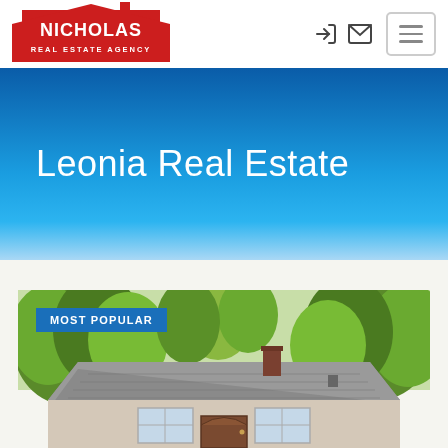[Figure (logo): Nicholas Real Estate Agency logo — red house silhouette with white text NICHOLAS REAL ESTATE AGENCY]
[Figure (other): Navigation icons: login arrow icon and envelope/mail icon, plus hamburger menu button]
Leonia Real Estate
[Figure (photo): Photograph of a suburban house roof with chimney surrounded by green trees, with a MOST POPULAR badge overlay in blue]
MOST POPULAR